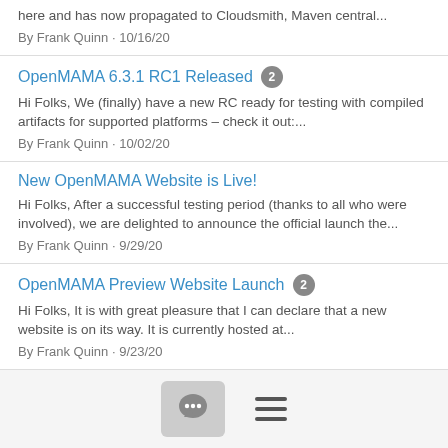here and has now propagated to Cloudsmith, Maven central...
By Frank Quinn · 10/16/20
OpenMAMA 6.3.1 RC1 Released [2]
Hi Folks, We (finally) have a new RC ready for testing with compiled artifacts for supported platforms – check it out:...
By Frank Quinn · 10/02/20
New OpenMAMA Website is Live!
Hi Folks, After a successful testing period (thanks to all who were involved), we are delighted to announce the official launch the...
By Frank Quinn · 9/29/20
OpenMAMA Preview Website Launch [2]
Hi Folks, It is with great pleasure that I can declare that a new website is on its way. It is currently hosted at...
By Frank Quinn · 9/23/20
Proposal: OpenMAMA Default Branch change to
[Figure (other): Bottom navigation bar with a chat/speech bubble icon button and a hamburger menu icon]